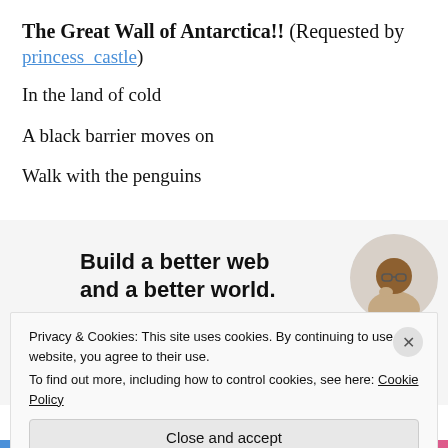The Great Wall of Antarctica!! (Requested by princess_castle)
In the land of cold
A black barrier moves on
Walk with the penguins
[Figure (illustration): Advertisement banner: 'Build a better web and a better world.' with an Apply button and a circular photo of a person thinking]
Privacy & Cookies: This site uses cookies. By continuing to use this website, you agree to their use.
To find out more, including how to control cookies, see here: Cookie Policy
Close and accept